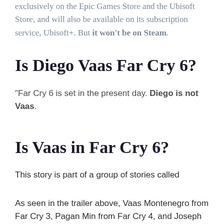exclusively on the Epic Games Store and the Ubisoft Store, and will also be available on its subscription service, Ubisoft+. But it won't be on Steam.
Is Diego Vaas Far Cry 6?
“Far Cry 6 is set in the present day. Diego is not Vaas.
Is Vaas in Far Cry 6?
This story is part of a group of stories called
As seen in the trailer above, Vaas Montenegro from Far Cry 3, Pagan Min from Far Cry 4, and Joseph